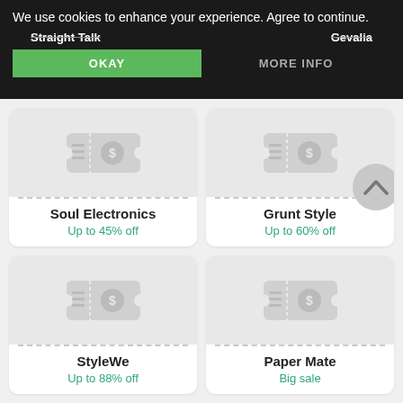We use cookies to enhance your experience. Agree to continue.
Straight Talk
Gevalia
OKAY
MORE INFO
[Figure (screenshot): Coupon placeholder for Soul Electronics — grey ticket icon with dollar sign]
Soul Electronics
Up to 45% off
[Figure (screenshot): Coupon placeholder for Grunt Style — grey ticket icon with dollar sign]
Grunt Style
Up to 60% off
[Figure (screenshot): Coupon placeholder for StyleWe — grey ticket icon with dollar sign]
StyleWe
Up to 88% off
[Figure (screenshot): Coupon placeholder for Paper Mate — grey ticket icon with dollar sign]
Paper Mate
Big sale